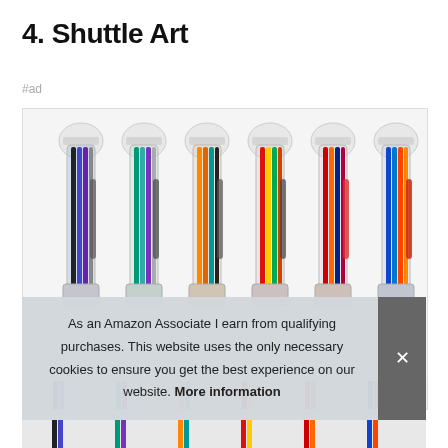4. Shuttle Art
#ad
[Figure (photo): Six multicolored ballpoint pens with transparent barrels showing multiple ink colors, arranged side by side upright, with clear round caps on top.]
As an Amazon Associate I earn from qualifying purchases. This website uses the only necessary cookies to ensure you get the best experience on our website. More information